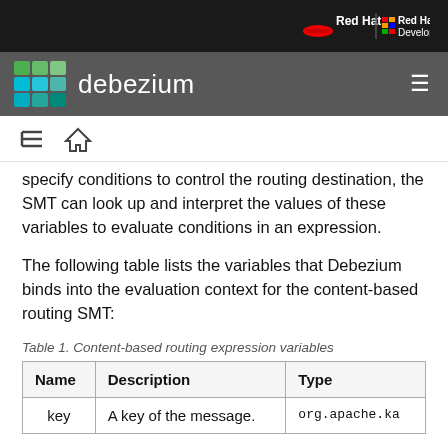Red Hat | Red Hat Developer
debezium
specify conditions to control the routing destination, the SMT can look up and interpret the values of these variables to evaluate conditions in an expression.
The following table lists the variables that Debezium binds into the evaluation context for the content-based routing SMT:
Table 1. Content-based routing expression variables
| Name | Description | Type |
| --- | --- | --- |
| key | A key of the message. | org.apache.ka |